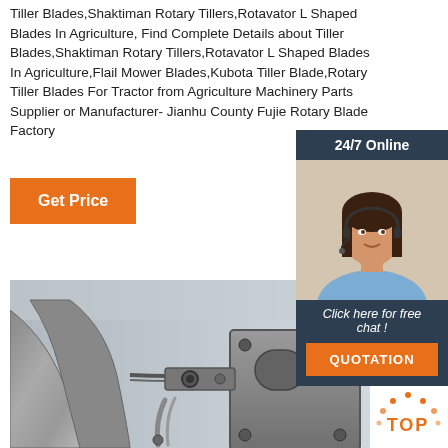Tiller Blades,Shaktiman Rotary Tillers,Rotavator L Shaped Blades In Agriculture, Find Complete Details about Tiller Blades,Shaktiman Rotary Tillers,Rotavator L Shaped Blades In Agriculture,Flail Mower Blades,Kubota Tiller Blade,Rotary Tiller Blades For Tractor from Agriculture Machinery Parts Supplier or Manufacturer- Jianhu County Fujie Rotary Blade Factory
[Figure (other): Orange 'Get Price' button]
[Figure (other): 24/7 Online chat widget with agent photo, click here for free chat text, and orange QUOTATION button]
[Figure (photo): Close-up photograph of metal rotary tiller blades/agricultural machinery parts in grey/silver tones]
[Figure (other): Orange and white TOP badge with dotted arc design]